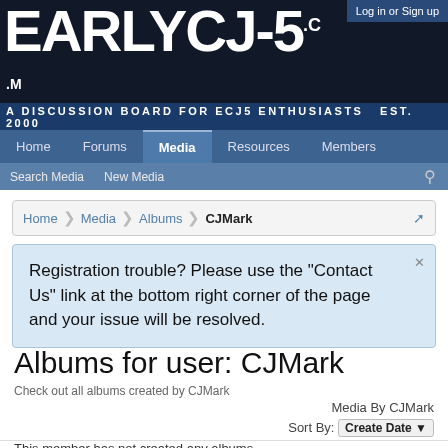[Figure (logo): EarlyCJ-5.com website banner with bold white text on dark background, red vintage Jeep CJ-5 illustration, subtitle 'A DISCUSSION BOARD FOR ECJ5 ENTHUSIASTS EST. 2000']
Log in or Sign up
Home | Forums | Media | Resources | Members
Search Media  New Media
Home > Media > Albums > CJMark
Registration trouble? Please use the "Contact Us" link at the bottom right corner of the page and your issue will be resolved.
Albums for user: CJMark
Check out all albums created by CJMark
Media By CJMark
Sort By: Create Date
This member has not created any albums.